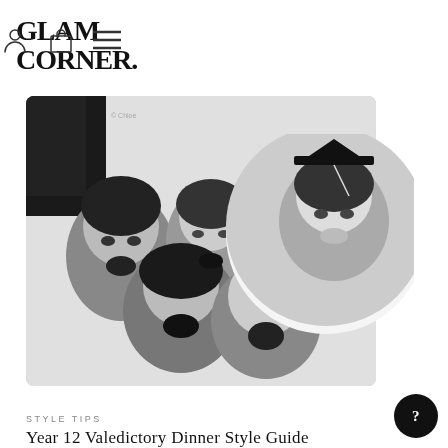GLAM CORNER.
[Figure (photo): Black and white photo booth style image of five young women making fun faces; one wearing a graduation cap. Partially overlapping with a white circle/rounded shape on the right side.]
STYLE TIPS
Year 12 Valedictory Dinner Style Guide